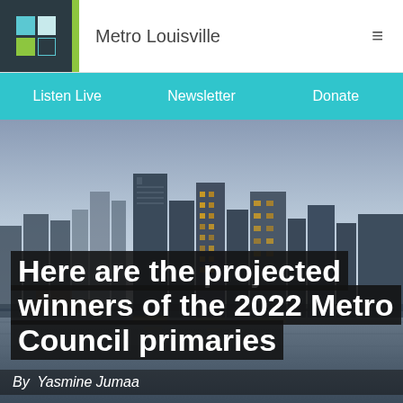Metro Louisville
Listen Live   Newsletter   Donate
[Figure (photo): City skyline of Louisville, Kentucky at dusk/dawn with buildings reflected in the Ohio River]
Here are the projected winners of the 2022 Metro Council primaries
By Yasmine Jumaa